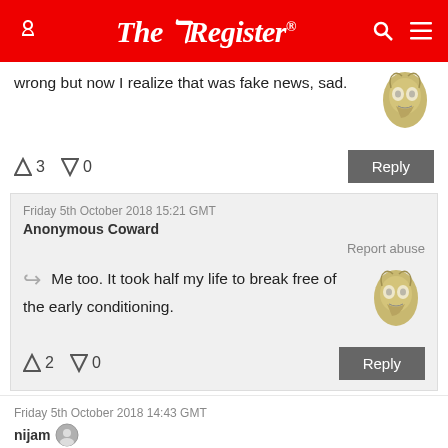The Register
wrong but now I realize that was fake news, sad.
↑3  ↓0   Reply
Friday 5th October 2018 15:21 GMT
Anonymous Coward
Report abuse
Me too. It took half my life to break free of the early conditioning.
↑2  ↓0   Reply
Friday 5th October 2018 14:43 GMT
nijam
Report abuse
> Die Hard Democrat came up as Left...
Die Hard Democrat came up as Right?